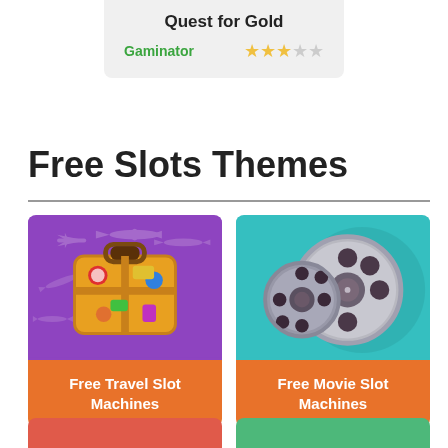Quest for Gold
Gaminator ★★★☆☆
Free Slots Themes
[Figure (illustration): Free Travel Slot Machines card with purple background showing a travel suitcase with stickers and airplanes]
Free Travel Slot Machines
[Figure (illustration): Free Movie Slot Machines card with teal/cyan background showing film reels]
Free Movie Slot Machines